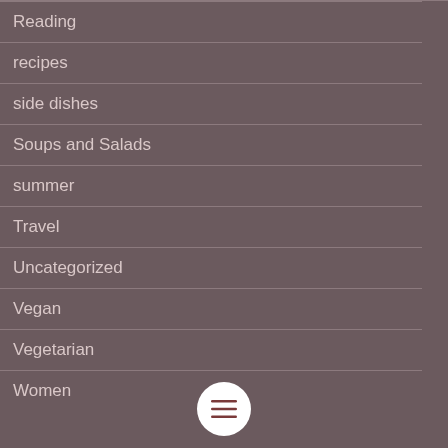Reading
recipes
side dishes
Soups and Salads
summer
Travel
Uncategorized
Vegan
Vegetarian
Women